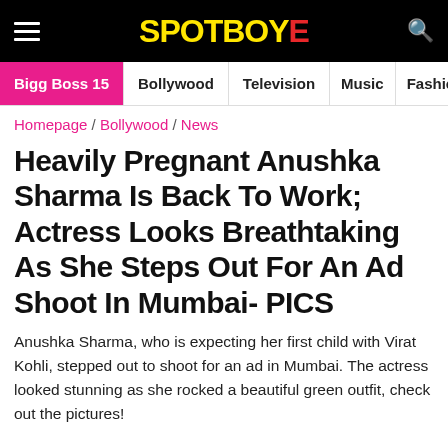SPOTBOYE
Bigg Boss 15 | Bollywood | Television | Music | Fashion
Homepage / Bollywood / News
Heavily Pregnant Anushka Sharma Is Back To Work; Actress Looks Breathtaking As She Steps Out For An Ad Shoot In Mumbai- PICS
Anushka Sharma, who is expecting her first child with Virat Kohli, stepped out to shoot for an ad in Mumbai. The actress looked stunning as she rocked a beautiful green outfit, check out the pictures!